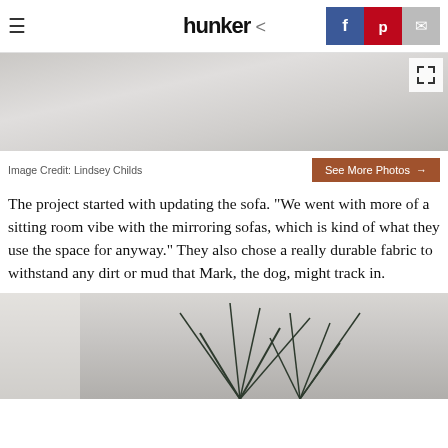hunker
[Figure (photo): Top portion of an interior room photo, showing a grey floor/carpet area with minimal furnishings]
Image Credit: Lindsey Childs
The project started with updating the sofa. "We went with more of a sitting room vibe with the mirroring sofas, which is kind of what they use the space for anyway." They also chose a really durable fabric to withstand any dirt or mud that Mark, the dog, might track in.
[Figure (photo): Bottom portion of room photo showing potted plants against a light grey wall]